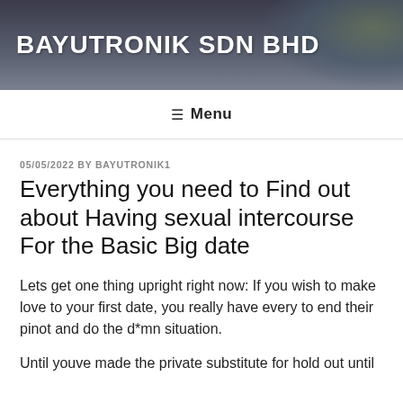BAYUTRONIK SDN BHD
≡ Menu
05/05/2022 BY BAYUTRONIK1
Everything you need to Find out about Having sexual intercourse For the Basic Big date
Lets get one thing upright right now: If you wish to make love to your first date, you really have every to end their pinot and do the d*mn situation.
Until youve made the private substitute for hold out until you can have your marriage bed or hiring a silver stave fl...